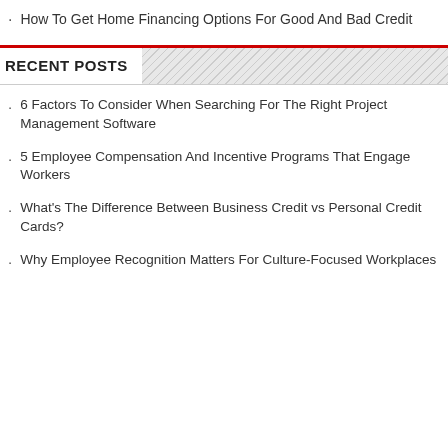How To Get Home Financing Options For Good And Bad Credit
RECENT POSTS
6 Factors To Consider When Searching For The Right Project Management Software
5 Employee Compensation And Incentive Programs That Engage Workers
What's The Difference Between Business Credit vs Personal Credit Cards?
Why Employee Recognition Matters For Culture-Focused Workplaces